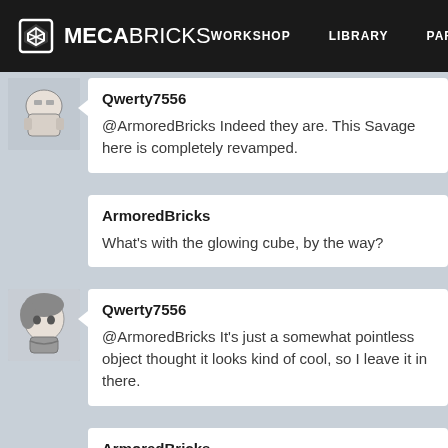MECABRICKS — WORKSHOP  LIBRARY  PARTS
Qwerty7556
@ArmoredBricks Indeed they are. This Savage here is completely revamped.
ArmoredBricks
What's with the glowing cube, by the way?
Qwerty7556
@ArmoredBricks It's just a somewhat pointless object thought it looks kind of cool, so I leave it in there.
ArmoredBricks